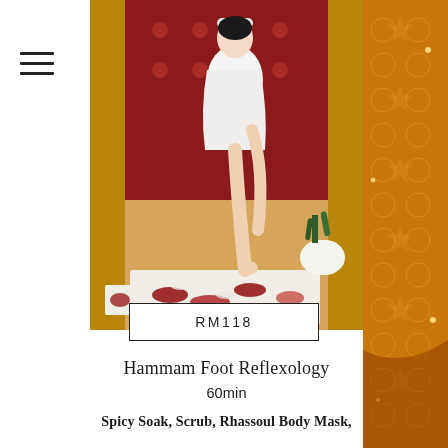[Figure (photo): Woman in white robe dipping foot into a white tray filled with red rose petals and water, in a luxurious spa setting with ornate gold and red patterned decor]
RM118
Hammam Foot Reflexology
60min
Spicy Soak, Scrub, Rhassoul Body Mask,